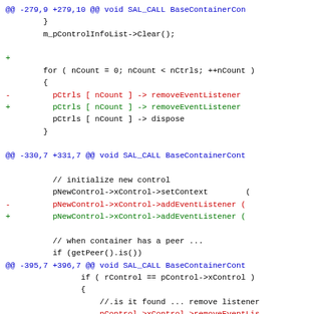[Figure (screenshot): A code diff view showing changes to BaseContainerControl C++ source file with three diff hunks. Lines prefixed with '-' are shown in red (removed), lines prefixed with '+' are shown in green (added), hunk headers are shown in blue, and context lines are shown in black.]